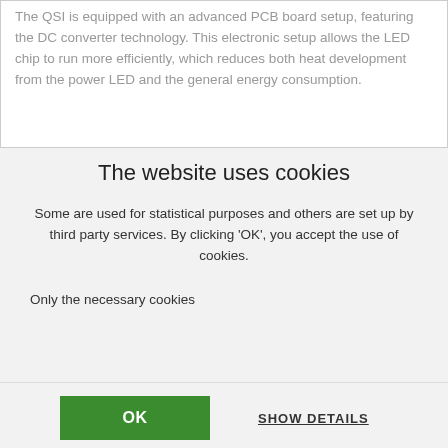The QSI is equipped with an advanced PCB board setup, featuring the DC converter technology. This electronic setup allows the LED chip to run more efficiently, which reduces both heat development from the power LED and the general energy consumption.
The website uses cookies
Some are used for statistical purposes and others are set up by third party services. By clicking ‘OK’, you accept the use of cookies.
Only the necessary cookies
OK
SHOW DETAILS